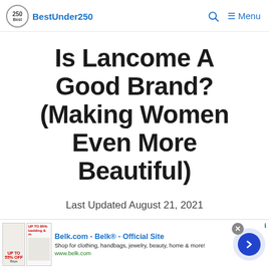BestUnder250 | Menu
Is Lancome A Good Brand? (Making Women Even More Beautiful)
Last Updated August 21, 2021
[Figure (screenshot): Advertisement banner for Belk.com - Belk® - Official Site. Shows product thumbnail images on left, ad text 'Shop for clothing, handbags, jewelry, beauty, home & more! www.belk.com' in center, close button (X), and blue circular arrow navigation button on right.]